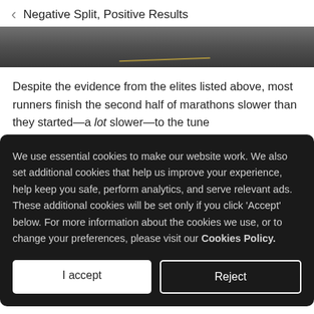Negative Split, Positive Results
[Figure (photo): Close-up photo of a road/track surface, dark asphalt with a faint golden/yellow lane line, partially visible]
Despite the evidence from the elites listed above, most runners finish the second half of marathons slower than they started—a lot slower—to the tune
We use essential cookies to make our website work. We also set additional cookies that help us improve your experience, help keep you safe, perform analytics, and serve relevant ads. These additional cookies will be set only if you click 'Accept' below. For more information about the cookies we use, or to change your preferences, please visit our Cookies Policy.
I accept
Reject
Why is this?